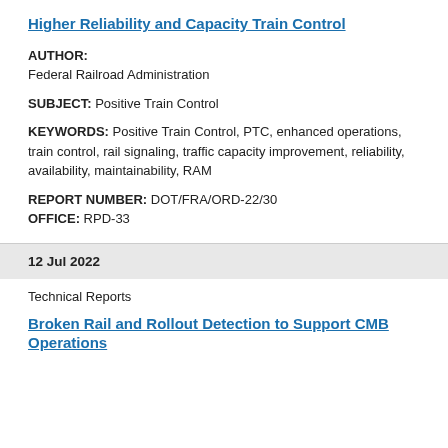Higher Reliability and Capacity Train Control
AUTHOR:
Federal Railroad Administration
SUBJECT: Positive Train Control
KEYWORDS: Positive Train Control, PTC, enhanced operations, train control, rail signaling, traffic capacity improvement, reliability, availability, maintainability, RAM
REPORT NUMBER: DOT/FRA/ORD-22/30
OFFICE: RPD-33
12 Jul 2022
Technical Reports
Broken Rail and Rollout Detection to Support CMB Operations